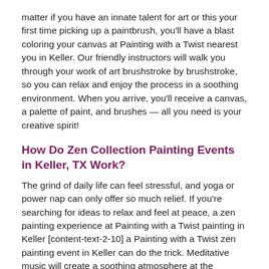matter if you have an innate talent for art or this your first time picking up a paintbrush, you'll have a blast coloring your canvas at Painting with a Twist nearest you in Keller. Our friendly instructors will walk you through your work of art brushstroke by brushstroke, so you can relax and enjoy the process in a soothing environment. When you arrive, you'll receive a canvas, a palette of paint, and brushes — all you need is your creative spirit!
How Do Zen Collection Painting Events in Keller, TX Work?
The grind of daily life can feel stressful, and yoga or power nap can only offer so much relief. If you're searching for ideas to relax and feel at peace, a zen painting experience at Painting with a Twist painting in Keller [content-text-2-10] a Painting with a Twist zen painting event in Keller can do the trick. Meditative music will create a soothing atmosphere at the Painting with a Twist studio, which we turn into a haven of tranquility and bliss. A local Keller artist will instruct you on how to create a painting with zen elements — imagine sunrises, sunsets, budding flowers, or